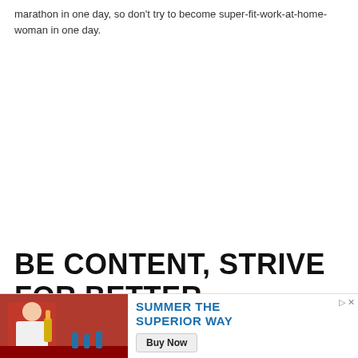marathon in one day, so don't try to become super-fit-work-at-home-woman in one day.
BE CONTENT, STRIVE FOR BETTER
This is so hard for me to accomplish because I'm embarrassed that just it
[Figure (photo): Advertisement banner showing a person holding a beer bottle with text 'SUMMER THE SUPERIOR WAY' and a 'Buy Now' button]